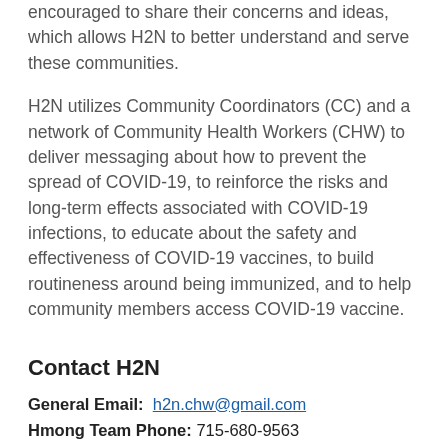encouraged to share their concerns and ideas, which allows H2N to better understand and serve these communities.
H2N utilizes Community Coordinators (CC) and a network of Community Health Workers (CHW) to deliver messaging about how to prevent the spread of COVID-19, to reinforce the risks and long-term effects associated with COVID-19 infections, to educate about the safety and effectiveness of COVID-19 vaccines, to build routineness around being immunized, and to help community members access COVID-19 vaccine.
Contact H2N
General Email:  h2n.chw@gmail.com
Hmong Team Phone: 715-680-9563
Hmong coordinators: Hmongshee Khang
Hispanic Team Phone: 715-903-6427